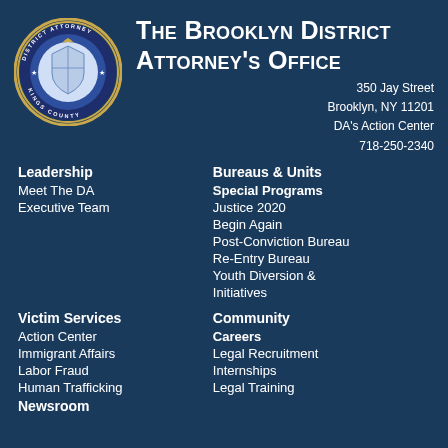[Figure (logo): Circular seal of the District Attorney Kings County office with blue border and gold ring]
The Brooklyn District Attorney's Office
350 Jay Street
Brooklyn, NY 11201
DA's Action Center
718-250-2340
Leadership
Meet The DA
Executive Team
Bureaus & Units
Special Programs
Justice 2020
Begin Again
Post-Conviction Bureau
Re-Entry Bureau
Youth Diversion & Initiatives
Victim Services
Action Center
Immigrant Affairs
Labor Fraud
Human Trafficking
Community
Careers
Legal Recruitment
Internships
Legal Training
Newsroom